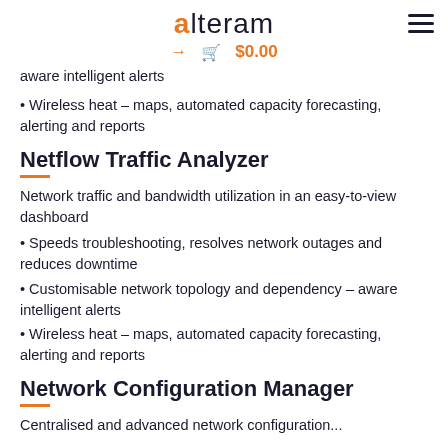alteram — $0.00
aware intelligent alerts
• Wireless heat – maps, automated capacity forecasting, alerting and reports
Netflow Traffic Analyzer
Network traffic and bandwidth utilization in an easy-to-view dashboard
• Speeds troubleshooting, resolves network outages and reduces downtime
• Customisable network topology and dependency – aware intelligent alerts
• Wireless heat – maps, automated capacity forecasting, alerting and reports
Network Configuration Manager
Centralised and advanced network configuration...